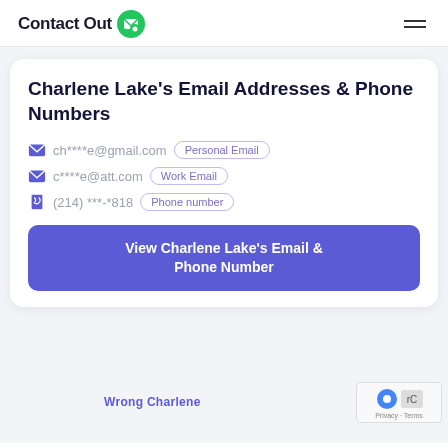ContactOut
Charlene Lake's Email Addresses & Phone Numbers
ch****e@gmail.com  Personal Email
c****e@att.com  Work Email
(214) ***-*818  Phone number
View Charlene Lake's Email & Phone Number
Wrong Charlene